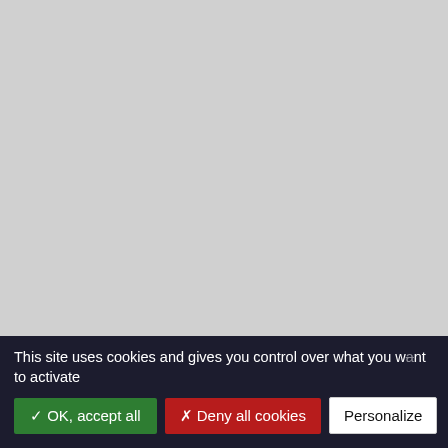seven years of industry experience up provides. Check out the unique take pleasure in some free play at r
30 Spins on pre-selected games mi days after qualifying deposit/wage for seventy two hours from credit. will be credited per day for 9 days met. 20 Spins on Starburst will be day for 9 days. Many UK casinos no deposit required to play online s spinning and winning without havi money. Choose a UK bonus from o or even 100 Free Spins on registra
We navigated every platform to sea
This site uses cookies and gives you control over what you want to activate